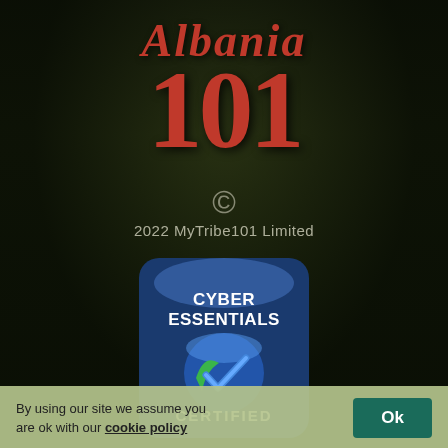Albania 101
© 2022 MyTribe101 Limited
[Figure (logo): Cyber Essentials Certified badge — dark blue shield/tombstone shape with 'CYBER ESSENTIALS' text at top and 'CERTIFIED' at bottom, with a blue and green checkmark in the center]
MyTribe101 Ltd., Officepods, 15A Main St, Blackrock, Co. Dublin A94 T8P8, Ireland. Company number: 482158
By using our site we assume you are ok with our cookie policy Ok